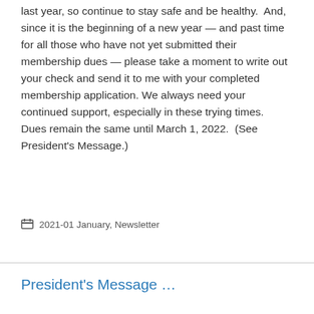last year, so continue to stay safe and be healthy.  And, since it is the beginning of a new year — and past time for all those who have not yet submitted their membership dues — please take a moment to write out your check and send it to me with your completed membership application. We always need your continued support, especially in these trying times.  Dues remain the same until March 1, 2022.  (See President's Message.)
2021-01 January, Newsletter
President's Message …